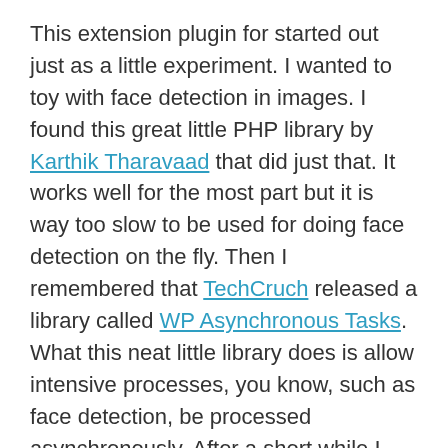This extension plugin for started out just as a little experiment. I wanted to toy with face detection in images. I found this great little PHP library by Karthik Tharavaad that did just that. It works well for the most part but it is way too slow to be used for doing face detection on the fly. Then I remembered that TechCruch released a library called WP Asynchronous Tasks. What this neat little library does is allow intensive processes, you know, such as face detection, be processed asynchronously. After a short while I had the face detection running in background tasks. These background task could probably be more optimized but this is probably good enough for a first release.
Read this carefully...
Limitations:
1. The first time an image in Connections is accessed,